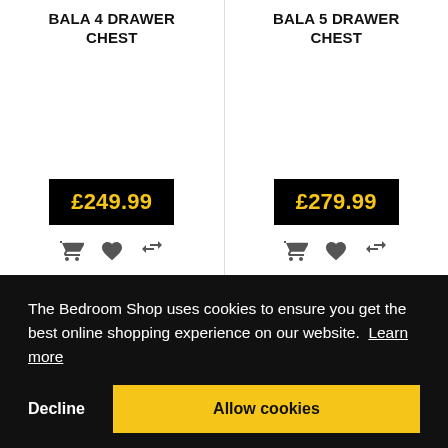BALA 4 DRAWER CHEST
BALA 5 DRAWER CHEST
£249.99
£279.99
The Bedroom Shop uses cookies to ensure you get the best online shopping experience on our website. Learn more
Decline
Allow cookies